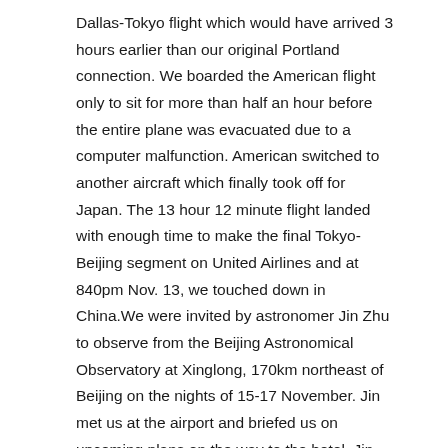Dallas-Tokyo flight which would have arrived 3 hours earlier than our original Portland connection. We boarded the American flight only to sit for more than half an hour before the entire plane was evacuated due to a computer malfunction. American switched to another aircraft which finally took off for Japan. The 13 hour 12 minute flight landed with enough time to make the final Tokyo-Beijing segment on United Airlines and at 840pm Nov. 13, we touched down in China.We were invited by astronomer Jin Zhu to observe from the Beijing Astronomical Observatory at Xinglong, 170km northeast of Beijing on the nights of 15-17 November. Jin met us at the airport and briefed us on upcoming plans on the way to the hotel. Jin does not drive a car and was taking his driver's test that week.
We remained in Beijing for a bit over a day before being transported to the Beijing Astronomical Observatory (BAO) administrative facility on the northwest side of the city. As we were driving, the